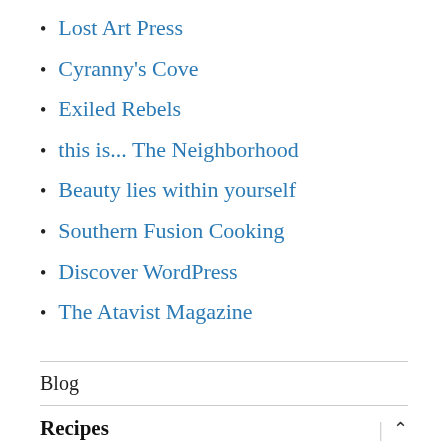Lost Art Press
Cyranny's Cove
Exiled Rebels
this is... The Neighborhood
Beauty lies within yourself
Southern Fusion Cooking
Discover WordPress
The Atavist Magazine
Blog
Recipes
Breakfast
Soft Scrambled Eggs